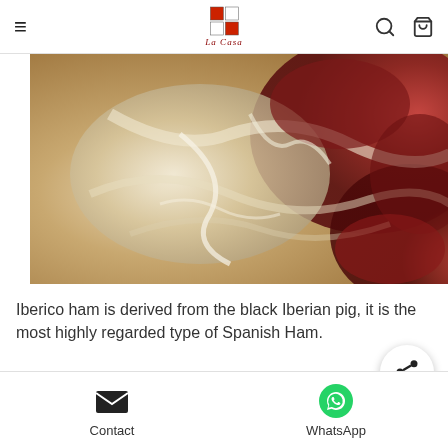La Casa — navigation header with hamburger menu, logo, search and cart icons
[Figure (photo): Close-up photograph of Iberico ham showing red meat with white fat marbling]
Iberico ham is derived from the black Iberian pig, it is the most highly regarded type of Spanish Ham.
£19.90
Contact | WhatsApp